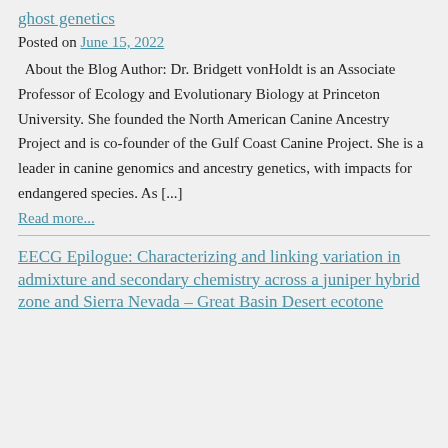ghost genetics
Posted on June 15, 2022
About the Blog Author: Dr. Bridgett vonHoldt is an Associate Professor of Ecology and Evolutionary Biology at Princeton University. She founded the North American Canine Ancestry Project and is co-founder of the Gulf Coast Canine Project. She is a leader in canine genomics and ancestry genetics, with impacts for endangered species. As [...]
Read more...
EECG Epilogue: Characterizing and linking variation in admixture and secondary chemistry across a juniper hybrid zone and Sierra Nevada – Great Basin Desert ecotone